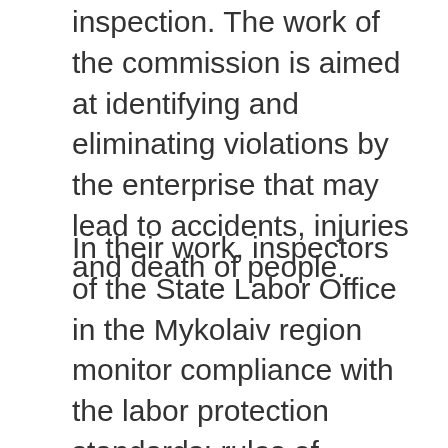inspection. The work of the commission is aimed at identifying and eliminating violations by the enterprise that may lead to accidents, injuries and death of people.
In their work, inspectors of the State Labor Office in the Mykolaiv region monitor compliance with the labor protection standards; rules of hygiene and industrial sanitation; activities related to the operation of high-risk equipment; the identification and declaration of safety of high-risk facilities; compliance with the legislation in the field of labor protection for the safe conducting of works of increased danger; the quality of medical examinations and certification of workplaces.
During the inspection, a commission of 6 inspectors surveyed the territory, checked the technical condition of the equipment, labor